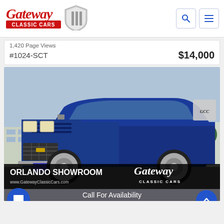[Figure (logo): Gateway Classic Cars logo with red script text and shield emblem]
1,420 Page Views
#1024-SCT    $14,000
[Figure (photo): 1985 Chevrolet C10 classic blue pickup truck parked in a lot, Gateway Classic Cars Orlando Showroom photo with website www.GatewayClassicCars.com and Call For Availability banner]
1985 Chevrolet C10